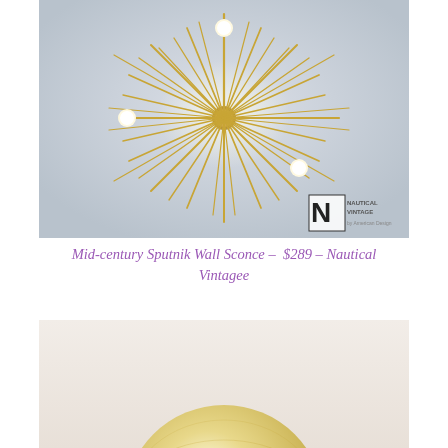[Figure (photo): Sputnik-style mid-century brass wall/ceiling light fixture with many radiating gold metal spokes and exposed Edison bulbs, mounted on a ceiling, photographed from below. Nautical Vintage logo watermark in bottom-right corner.]
Mid-century Sputnik Wall Sconce –  $289 – Nautical Vintagee
[Figure (photo): Partial photo of a round gold/yellow object (possibly a globe or decorative sphere) against a light background, cropped so only the top portion is visible.]